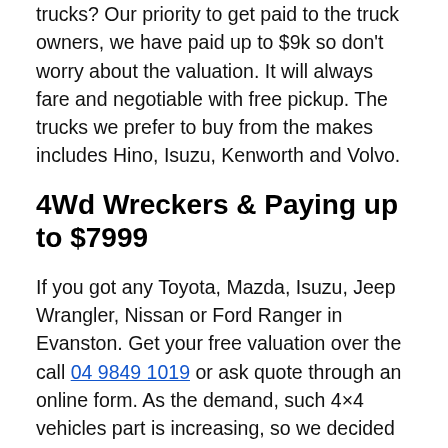trucks? Our priority to get paid to the truck owners, we have paid up to $9k so don't worry about the valuation. It will always fare and negotiable with free pickup. The trucks we prefer to buy from the makes includes Hino, Isuzu, Kenworth and Volvo.
4Wd Wreckers & Paying up to $7999
If you got any Toyota, Mazda, Isuzu, Jeep Wrangler, Nissan or Ford Ranger in Evanston. Get your free valuation over the call 04 9849 1019 or ask quote through an online form. As the demand, such 4×4 vehicles part is increasing, so we decided to pay $100 more from others. Customer